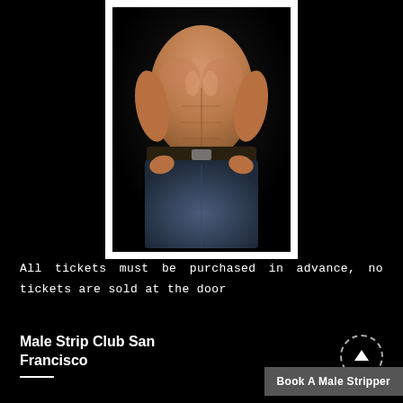[Figure (photo): Muscular shirtless male torso wearing jeans, photographed against black background, shown from neck to hips]
All tickets must be purchased in advance, no tickets are sold at the door
Male Strip Club San Francisco
Book A Male Stripper